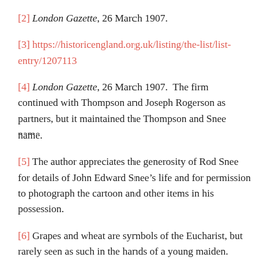[2] London Gazette, 26 March 1907.
[3] https://historicengland.org.uk/listing/the-list/list-entry/1207113
[4] London Gazette, 26 March 1907.  The firm continued with Thompson and Joseph Rogerson as partners, but it maintained the Thompson and Snee name.
[5] The author appreciates the generosity of Rod Snee for details of John Edward Snee’s life and for permission to photograph the cartoon and other items in his possession.
[6] Grapes and wheat are symbols of the Eucharist, but rarely seen as such in the hands of a young maiden.
[7] Australasian Decorator and Painter, 1 June 1917, p.